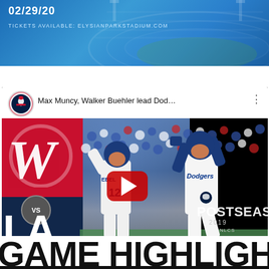[Figure (photo): Blue stadium banner with date 02/29/20 and text TICKETS AVAILABLE: ELYSIANPARKSTADIUM.COM]
[Figure (screenshot): YouTube video thumbnail for 'Max Muncy, Walker Buehler lead Dod...' showing two Dodgers players high-fiving with Nationals logo on left, MLB Postseason 2019 NLCS branding, and red YouTube play button in center]
GAME HIGHLIGHTS